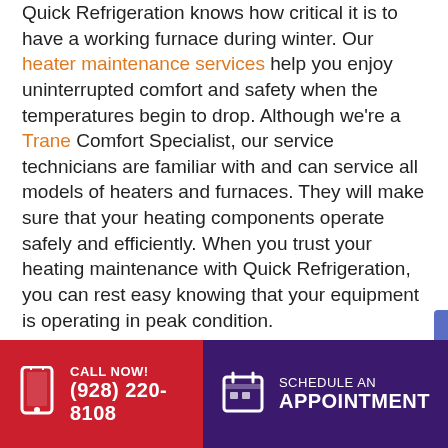Quick Refrigeration knows how critical it is to have a working furnace during winter. Our heater maintenance services help you enjoy uninterrupted comfort and safety when the temperatures begin to drop. Although we're a Trane Comfort Specialist, our service technicians are familiar with and can service all models of heaters and furnaces. They will make sure that your heating components operate safely and efficiently. When you trust your heating maintenance with Quick Refrigeration, you can rest easy knowing that your equipment is operating in peak condition.
Your Expert Heating Contractor
CALL NOW! (928) 220-8108 | SCHEDULE AN APPOINTMENT